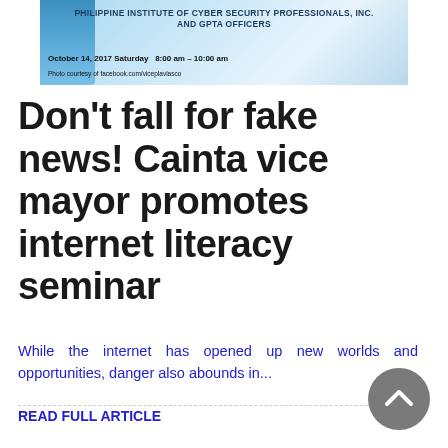[Figure (photo): Banner image with globe graphic and text: PHILIPPINE INSTITUTE OF CYBER SECURITY PROFESSIONALS, INC. AND GPTA OFFICERS. Date: October 14, 2017 Saturday 8:00 am – 10:00 am. Photo courtesy of facebook.com/viceplavlasco]
Don't fall for fake news! Cainta vice mayor promotes internet literacy seminar
While the internet has opened up new worlds and opportunities, danger also abounds in...
READ FULL ARTICLE